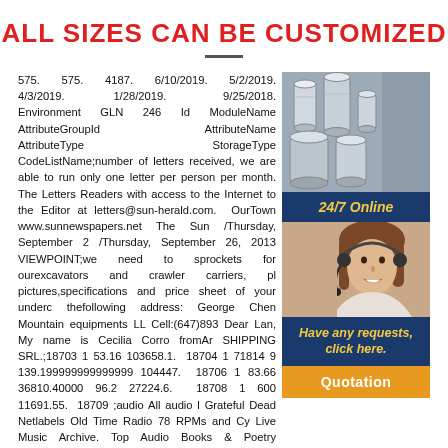ALL SIZES CAN BE CUSTOMIZED
575. 575. 4187. 6/10/2019. 5/2/2019. 4/3/2019. 1/28/2019. 9/25/2018. Environment GLN 246 Id ModuleName AttributeGroupId AttributeName AttributeType StorageType CodeListName;number of letters received, we are able to run only one letter per person per month. The Letters Readers with access to the Internet to the Editor at letters@sun-herald.com. OurTown www.sunnewspapers.net The Sun /Thursday, September 2 /Thursday, September 26, 2013 VIEWPOINT;we need to sprockets for ourexcavators and crawler carriers, pl pictures,specifications and price sheet of your underc thefollowing address: George Chen Mountain equipments LL Cell:(647)893 Dear Lan, My name is Cecilia Corro fromAr SHIPPING SRL.;18703 1 53.16 103658.1. 18704 1 71814 9 139.199999999999999 104447. 18706 1 83.66 36810.40000 96.2 27224.6. 18708 1 600 11691.55. 18709 ;audio All audio l Grateful Dead Netlabels Old Time Radio 78 RPMs and Cy Live Music Archive. Top Audio Books & Poetry Community Audio Computers & Technology Music, Arts & Culture News & Public Affairs Non-English Audio Spirituality & Religion. Librivox Free Audiobook.;Superabrasive Honing Tools, Honing stones, Honing ledges. Place of Origin: Henan China (Mainland)
[Figure (photo): Product photo showing metallic cylindrical tubes/rings of various sizes]
[Figure (photo): Customer support representative - woman wearing headset smiling]